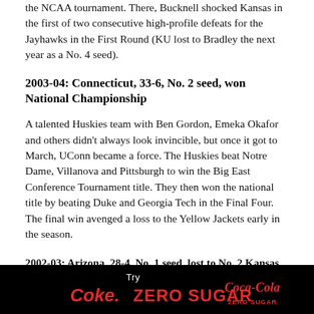the NCAA tournament. There, Bucknell shocked Kansas in the first of two consecutive high-profile defeats for the Jayhawks in the First Round (KU lost to Bradley the next year as a No. 4 seed).
2003-04: Connecticut, 33-6, No. 2 seed, won National Championship
A talented Huskies team with Ben Gordon, Emeka Okafor and others didn't always look invincible, but once it got to March, UConn became a force. The Huskies beat Notre Dame, Villanova and Pittsburgh to win the Big East Conference Tournament title. They then won the national title by beating Duke and Georgia Tech in the Final Four. The final win avenged a loss to the Yellow Jackets early in the season.
2002-03: Arizona, 28-4, No. 1 seed, lost to No. 2 Kansas...
[Figure (other): Coca-Cola Zero Sugar advertisement banner: black background with 'Try' in white, 'Coke. ZERO SUGAR' in red, and Coca-Cola Zero Sugar logo in red on the right.]